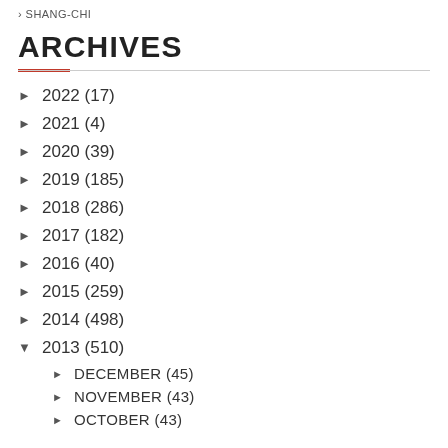› SHANG-CHI
ARCHIVES
► 2022 (17)
► 2021 (4)
► 2020 (39)
► 2019 (185)
► 2018 (286)
► 2017 (182)
► 2016 (40)
► 2015 (259)
► 2014 (498)
▼ 2013 (510)
► DECEMBER (45)
► NOVEMBER (43)
► OCTOBER (43)